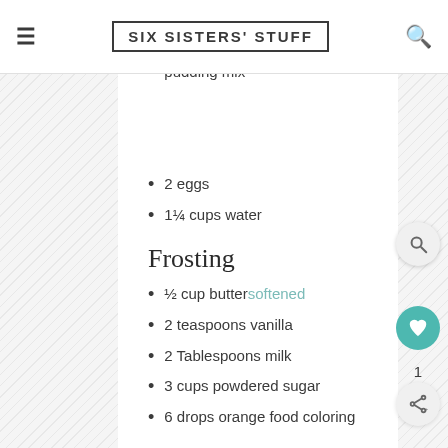SIX SISTERS' STUFF
2 cup milk chocolate chips
3 ounces instant chocolate pudding mix
2 eggs
1¼ cups water
Frosting
½ cup butter softened
2 teaspoons vanilla
2 Tablespoons milk
3 cups powdered sugar
6 drops orange food coloring